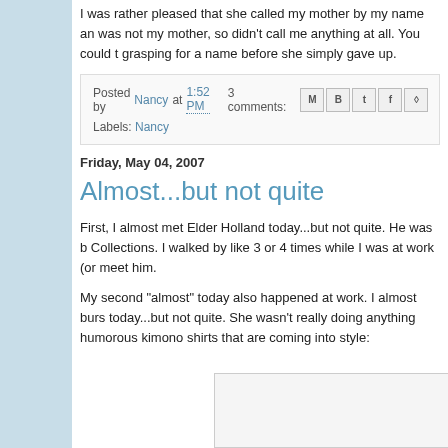I was rather pleased that she called my mother by my name and was not my mother, so didn't call me anything at all. You could tell she was grasping for a name before she simply gave up.
Posted by Nancy at 1:52 PM   3 comments:
Labels: Nancy
Friday, May 04, 2007
Almost...but not quite
First, I almost met Elder Holland today...but not quite. He was b Collections. I walked by like 3 or 4 times while I was at work (on meet him.
My second "almost" today also happened at work. I almost burs today...but not quite. She wasn't really doing anything humorous kimono shirts that are coming into style:
[Figure (photo): Image placeholder at bottom of page]